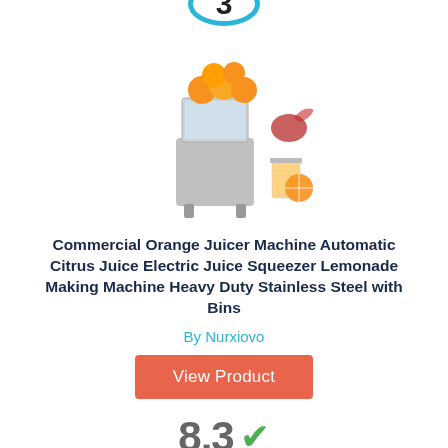[Figure (other): Rank badge circle with number 3 in blue ring]
[Figure (photo): Commercial orange juicer machine with oranges on top, stainless steel body, next to glasses of juice]
Commercial Orange Juicer Machine Automatic Citrus Juice Electric Juice Squeezer Lemonade Making Machine Heavy Duty Stainless Steel with Bins
By Nurxiovo
View Product
8.3
Score